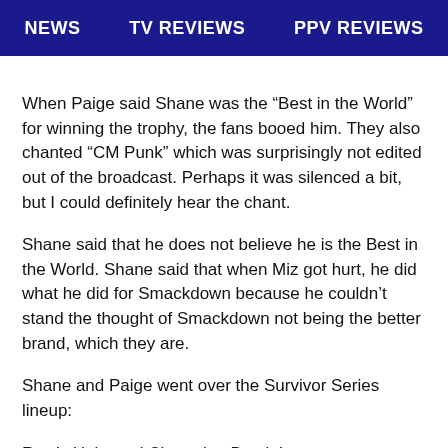NEWS   TV REVIEWS   PPV REVIEWS
When Paige said Shane was the “Best in the World” for winning the trophy, the fans booed him. They also chanted “CM Punk” which was surprisingly not edited out of the broadcast. Perhaps it was silenced a bit, but I could definitely hear the chant.
Shane said that he does not believe he is the Best in the World. Shane said that when Miz got hurt, he did what he did for Smackdown because he couldn’t stand the thought of Smackdown not being the better brand, which they are.
Shane and Paige went over the Survivor Series lineup:
Raw’s Universal Champion Brock Lesnar vs.